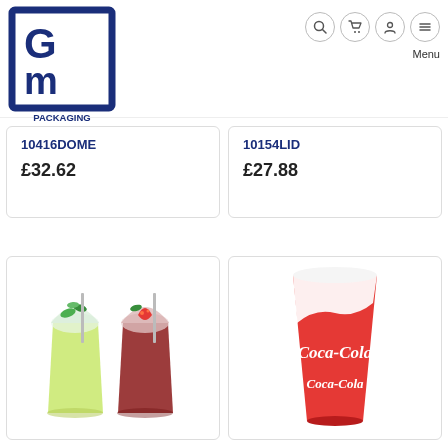[Figure (logo): GM Packaging (UK) Ltd logo — blue square with G and M letters inside]
10416DOME
£32.62
10154LID
£27.88
[Figure (photo): Two clear plastic dome-lid cups filled with green and red drinks with mint/strawberries]
[Figure (photo): Red and white Coca-Cola branded paper cup]